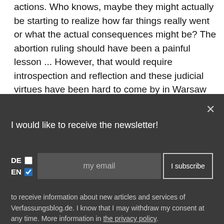actions. Who knows, maybe they might actually be starting to realize how far things really went or what the actual consequences might be? The abortion ruling should have been a painful lesson ... However, that would require introspection and reflection and these judicial virtues have been hard to come by in Warsaw these past 5 years. Or they might have no clue what to
[Figure (screenshot): Newsletter subscription modal on dark background with close button, title 'I would like to receive the newsletter!', DE/EN checkboxes, email input field, and 'I subscribe' button. Consent text with privacy policy link at bottom.]